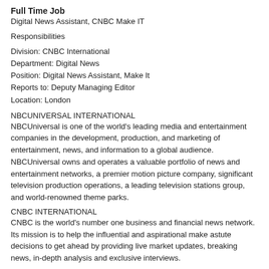Full Time Job
Digital News Assistant, CNBC Make IT
Responsibilities
Division: CNBC International
Department: Digital News
Position: Digital News Assistant, Make It
Reports to: Deputy Managing Editor
Location: London
NBCUNIVERSAL INTERNATIONAL
NBCUniversal is one of the world's leading media and entertainment companies in the development, production, and marketing of entertainment, news, and information to a global audience. NBCUniversal owns and operates a valuable portfolio of news and entertainment networks, a premier motion picture company, significant television production operations, a leading television stations group, and world-renowned theme parks.
CNBC INTERNATIONAL
CNBC is the world's number one business and financial news network. Its mission is to help the influential and aspirational make astute decisions to get ahead by providing live market updates, breaking news, in-depth analysis and exclusive interviews.